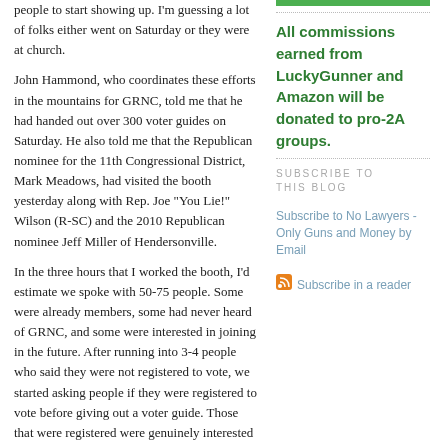people to start showing up. I'm guessing a lot of folks either went on Saturday or they were at church.
John Hammond, who coordinates these efforts in the mountains for GRNC, told me that he had handed out over 300 voter guides on Saturday. He also told me that the Republican nominee for the 11th Congressional District, Mark Meadows, had visited the booth yesterday along with Rep. Joe "You Lie!" Wilson (R-SC) and the 2010 Republican nominee Jeff Miller of Hendersonville.
In the three hours that I worked the booth, I'd estimate we spoke with 50-75 people. Some were already members, some had never heard of GRNC, and some were interested in joining in the future. After running into 3-4 people who said they were not registered to vote, we started asking people if they were registered to vote before giving out a voter guide. Those that were registered were genuinely interested in the voter guide. I stressed that we were non-partisan and that in some cases the Democrat actually was ranked better
All commissions earned from LuckyGunner and Amazon will be donated to pro-2A groups.
SUBSCRIBE TO THIS BLOG
Subscribe to No Lawyers - Only Guns and Money by Email
Subscribe in a reader